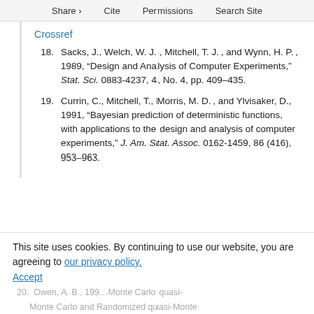Share   Cite   Permissions   Search Site
Crossref
18. Sacks, J., Welch, W. J. , Mitchell, T. J. , and Wynn, H. P. , 1989, “Design and Analysis of Computer Experiments,” Stat. Sci. 0883-4237, 4, No. 4, pp. 409–435.
19. Currin, C., Mitchell, T., Morris, M. D. , and Ylvisaker, D., 1991, “Bayesian prediction of deterministic functions, with applications to the design and analysis of computer experiments,” J. Am. Stat. Assoc. 0162-1459, 86 (416), 953–963.
This site uses cookies. By continuing to use our website, you are agreeing to our privacy policy. Accept
20. Owen, A. B., 1995, “Monte Carlo quasi-Monte Carlo and Randomized quasi-Monte